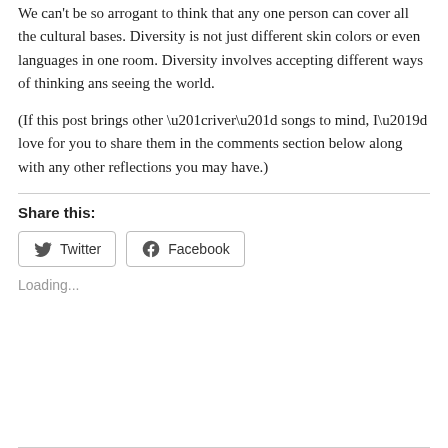We can't be so arrogant to think that any one person can cover all the cultural bases. Diversity is not just different skin colors or even languages in one room. Diversity involves accepting different ways of thinking ans seeing the world.
(If this post brings other “river” songs to mind, I’d love for you to share them in the comments section below along with any other reflections you may have.)
Share this:
[Figure (other): Twitter and Facebook share buttons]
Loading...